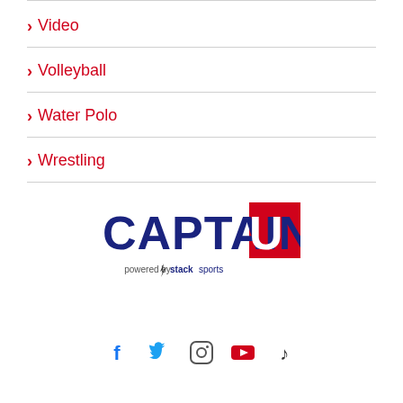Video
Volleyball
Water Polo
Wrestling
[Figure (logo): CaptainU logo powered by Stack Sports]
[Figure (infographic): Social media icons: Facebook, Twitter, Instagram, YouTube, TikTok]